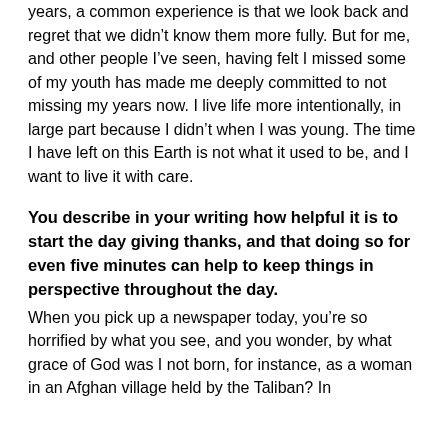years, a common experience is that we look back and regret that we didn't know them more fully. But for me, and other people I've seen, having felt I missed some of my youth has made me deeply committed to not missing my years now. I live life more intentionally, in large part because I didn't when I was young. The time I have left on this Earth is not what it used to be, and I want to live it with care.
You describe in your writing how helpful it is to start the day giving thanks, and that doing so for even five minutes can help to keep things in perspective throughout the day.
When you pick up a newspaper today, you're so horrified by what you see, and you wonder, by what grace of God was I not born, for instance, as a woman in an Afghan village held by the Taliban? In